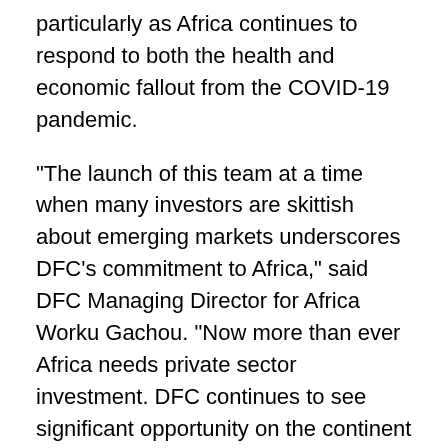particularly as Africa continues to respond to both the health and economic fallout from the COVID-19 pandemic.
“The launch of this team at a time when many investors are skittish about emerging markets underscores DFC’s commitment to Africa,” said DFC Managing Director for Africa Worku Gachou. “Now more than ever Africa needs private sector investment. DFC continues to see significant opportunity on the continent and is eager to leverage its new regional footprint to unlock that potential.”
“The deployment of DFC investment advisors to Africa advances one of our top priorities: increasing trade and investment between the United States and Africa,” said Assistant Secretary of State for African Affairs Tibor Nagy. “The new advisors will complement and enhance our deal teams at U.S. embassies across the continent to create more opportunities for U.S. and African companies.”